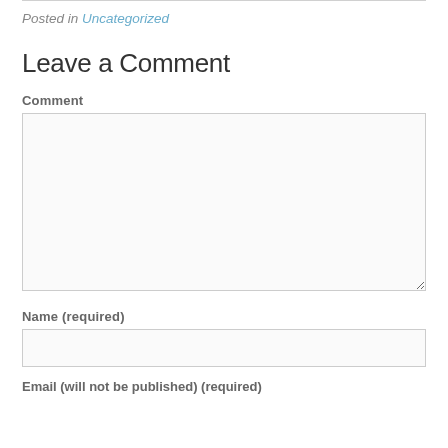Posted in Uncategorized
Leave a Comment
Comment
Name (required)
Email (will not be published) (required)